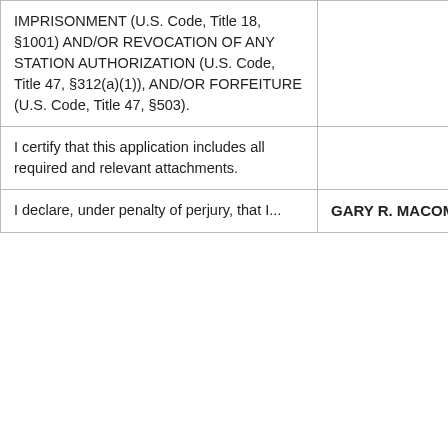| IMPRISONMENT (U.S. Code, Title 18, §1001) AND/OR REVOCATION OF ANY STATION AUTHORIZATION (U.S. Code, Title 47, §312(a)(1)), AND/OR FORFEITURE (U.S. Code, Title 47, §503). |  |
| I certify that this application includes all required and relevant attachments. |  |
| I declare, under penalty of perjury, that I... | GARY R. MACOMBER |